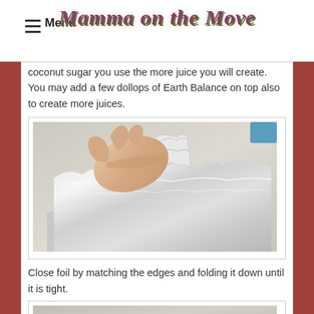Menu | Mamma on the Move
coconut sugar you use the more juice you will create. You may add a few dollops of Earth Balance on top also to create more juices.
[Figure (photo): A hand pinching and folding the edges of aluminum foil together, creating a sealed foil packet on a light surface.]
Close foil by matching the edges and folding it down until it is tight.
[Figure (photo): A partially visible photo of what appears to be another step in the foil packet preparation process.]